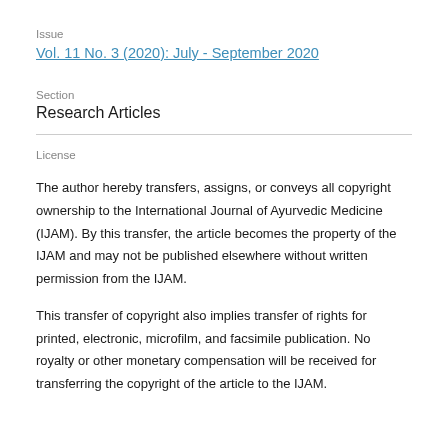Issue
Vol. 11 No. 3 (2020): July - September 2020
Section
Research Articles
License
The author hereby transfers, assigns, or conveys all copyright ownership to the International Journal of Ayurvedic Medicine (IJAM). By this transfer, the article becomes the property of the IJAM and may not be published elsewhere without written permission from the IJAM.
This transfer of copyright also implies transfer of rights for printed, electronic, microfilm, and facsimile publication. No royalty or other monetary compensation will be received for transferring the copyright of the article to the IJAM.